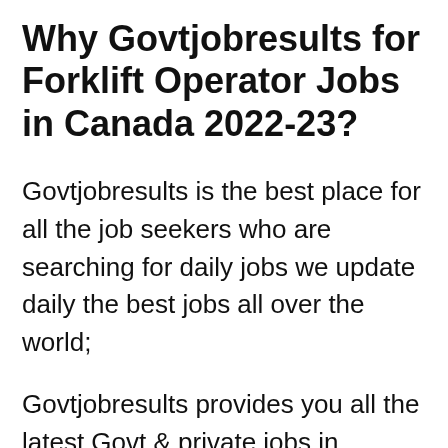Why Govtjobresults for Forklift Operator Jobs in Canada 2022-23?
Govtjobresults is the best place for all the job seekers who are searching for daily jobs we update daily the best jobs all over the world;
Govtjobresults provides you all the latest Govt & private jobs in Australia we update our all job page you will get always Fresh jobs on our this website;